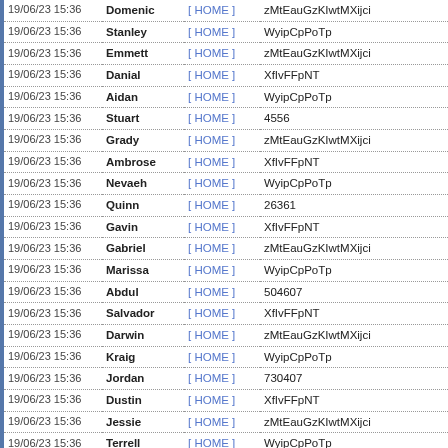| Timestamp | Name | Link | Value |
| --- | --- | --- | --- |
| 19/06/23 15:36 | Domenic | [ HOME ] | zMtEauGzKIwtMXijci |
| 19/06/23 15:36 | Stanley | [ HOME ] | WyipCpPoTp |
| 19/06/23 15:36 | Emmett | [ HOME ] | zMtEauGzKIwtMXijci |
| 19/06/23 15:36 | Danial | [ HOME ] | XfIvFFpNT |
| 19/06/23 15:36 | Aidan | [ HOME ] | WyipCpPoTp |
| 19/06/23 15:36 | Stuart | [ HOME ] | 4556 |
| 19/06/23 15:36 | Grady | [ HOME ] | zMtEauGzKIwtMXijci |
| 19/06/23 15:36 | Ambrose | [ HOME ] | XfIvFFpNT |
| 19/06/23 15:36 | Nevaeh | [ HOME ] | WyipCpPoTp |
| 19/06/23 15:36 | Quinn | [ HOME ] | 26361 |
| 19/06/23 15:36 | Gavin | [ HOME ] | XfIvFFpNT |
| 19/06/23 15:36 | Gabriel | [ HOME ] | zMtEauGzKIwtMXijci |
| 19/06/23 15:36 | Marissa | [ HOME ] | WyipCpPoTp |
| 19/06/23 15:36 | Abdul | [ HOME ] | 504607 |
| 19/06/23 15:36 | Salvador | [ HOME ] | XfIvFFpNT |
| 19/06/23 15:36 | Darwin | [ HOME ] | zMtEauGzKIwtMXijci |
| 19/06/23 15:36 | Kraig | [ HOME ] | WyipCpPoTp |
| 19/06/23 15:36 | Jordan | [ HOME ] | 730407 |
| 19/06/23 15:36 | Dustin | [ HOME ] | XfIvFFpNT |
| 19/06/23 15:36 | Jessie | [ HOME ] | zMtEauGzKIwtMXijci |
| 19/06/23 15:36 | Terrell | [ HOME ] | WyipCpPoTp |
| 19/06/23 15:36 | Davis | [ HOME ] | XfIvFFpNT |
| 19/06/23 15:36 | Anthony | [ HOME ] | 8766 |
| 19/06/23 15:36 | Evelyn | [ HOME ] | zMtEauGzKIwtMXijci |